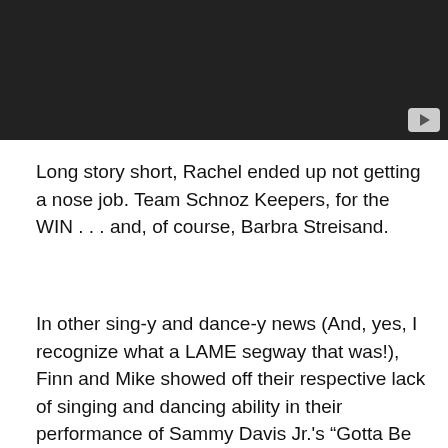[Figure (screenshot): Dark video thumbnail with a play button in the bottom-right corner]
Long story short, Rachel ended up not getting a nose job. Team Schnoz Keepers, for the WIN . . . and, of course, Barbra Streisand.
In other sing-y and dance-y news (And, yes, I recognize what a LAME segway that was!), Finn and Mike showed off their respective lack of singing and dancing ability in their performance of Sammy Davis Jr.'s “Gotta Be Me.” During the performance, Finn sang well and danced REALLY badly, while Mike dance well, but didn’t sing at all.  In other words, it was exactly like EVERY OTHER MUSIC NUMBER IN WHICH MIKE CHANG HAS TAKEN PART SINCE THE PILOT . . .